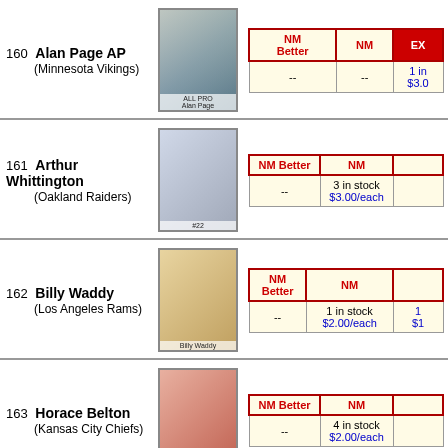160 Alan Page AP (Minnesota Vikings) -- | -- | 1 in stock $3.00
161 Arthur Whittington (Oakland Raiders) -- | 3 in stock $3.00/each
162 Billy Waddy (Los Angeles Rams) -- | 1 in stock $2.00/each | 1 $1
163 Horace Belton (Kansas City Chiefs) -- | 4 in stock $2.00/each
164 Luke Prestridge (Denver Broncos) 2 in stock